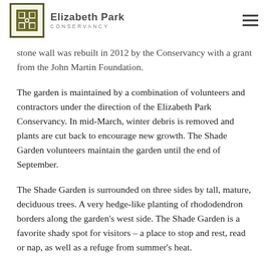Elizabeth Park Conservancy
stone wall was rebuilt in 2012 by the Conservancy with a grant from the John Martin Foundation.
The garden is maintained by a combination of volunteers and contractors under the direction of the Elizabeth Park Conservancy. In mid-March, winter debris is removed and plants are cut back to encourage new growth. The Shade Garden volunteers maintain the garden until the end of September.
The Shade Garden is surrounded on three sides by tall, mature, deciduous trees. A very hedge-like planting of rhododendron borders along the garden’s west side. The Shade Garden is a favorite shady spot for visitors – a place to stop and rest, read or nap, as well as a refuge from summer’s heat.